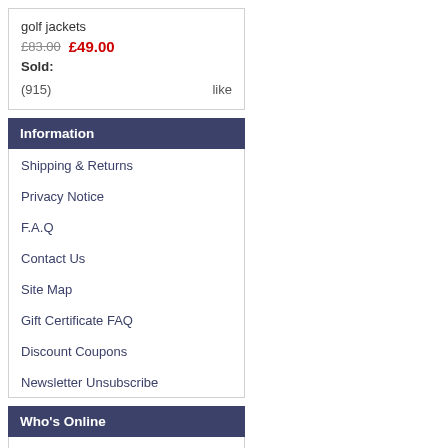golf jackets
£83.00  £49.00
Sold:
(915)   like
Information
Shipping & Returns
Privacy Notice
F.A.Q
Contact Us
Site Map
Gift Certificate FAQ
Discount Coupons
Newsletter Unsubscribe
Who's Online
There currently are 8 guests online.